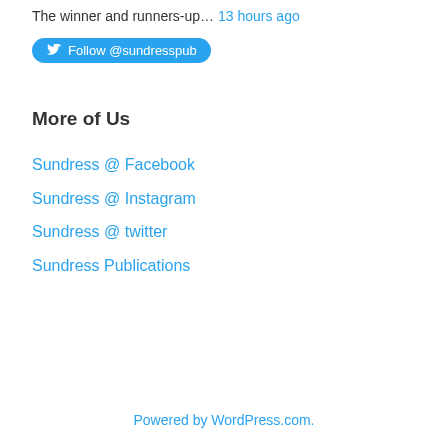The winner and runners-up… 13 hours ago
[Figure (other): Twitter Follow button for @sundresspub]
More of Us
Sundress @ Facebook
Sundress @ Instagram
Sundress @ twitter
Sundress Publications
Powered by WordPress.com.